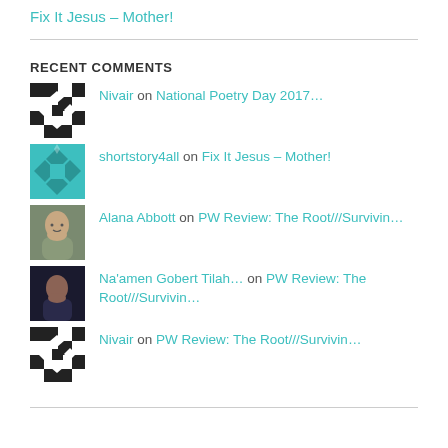Fix It Jesus – Mother!
RECENT COMMENTS
Nivair on National Poetry Day 2017…
shortstory4all on Fix It Jesus – Mother!
Alana Abbott on PW Review: The Root///Survivin…
Na'amen Gobert Tilah… on PW Review: The Root///Survivin…
Nivair on PW Review: The Root///Survivin…